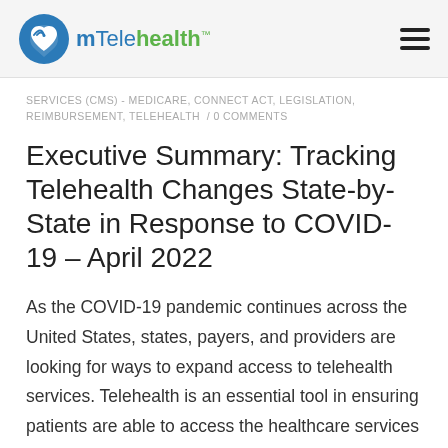[Figure (logo): mTelehealth logo with circular icon and hamburger menu icon on the right]
SERVICES (CMS) - MEDICARE, CONNECT ACT, LEGISLATION, REIMBURSEMENT, TELEHEALTH / 0 COMMENTS
Executive Summary: Tracking Telehealth Changes State-by-State in Response to COVID-19 – April 2022
As the COVID-19 pandemic continues across the United States, states, payers, and providers are looking for ways to expand access to telehealth services. Telehealth is an essential tool in ensuring patients are able to access the healthcare services they need in as safe a manner as possible. In order to provide our clients with quick [...]